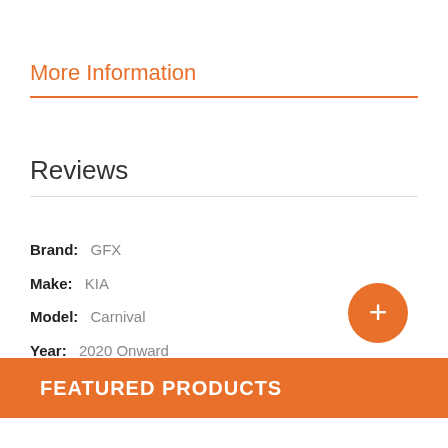More Information
Reviews
Brand: GFX
Make: KIA
Model: Carnival
Year: 2020 Onward
[Figure (other): Orange circular plus/add button]
FEATURED PRODUCTS